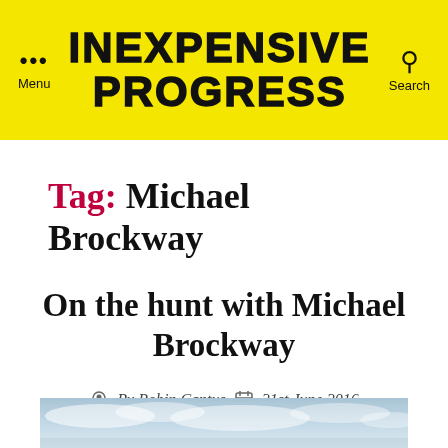INEXPENSIVE PROGRESS
Tag: Michael Brockway
On the hunt with Michael Brockway
By Robjn Cantus  21st June 2016
[Figure (photo): Partial view of a cloudy sky horizon, bottom strip of a landscape photograph]